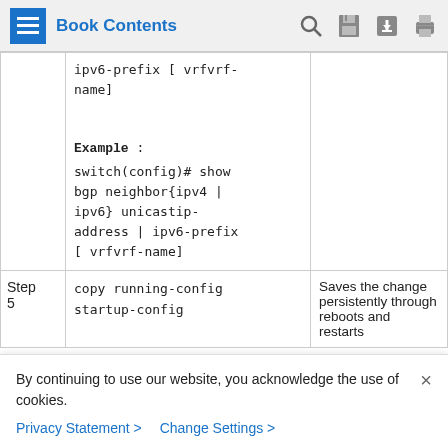Book Contents
|  | Command | Description |
| --- | --- | --- |
|  | ipv6-prefix [ vrfvrf-name]

Example :
switch(config)# show bgp neighbor{ipv4 | ipv6} unicastip-address | ipv6-prefix [ vrfvrf-name] |  |
| Step 5 | copy running-config startup-config | Saves the change persistently through reboots and restarts |
By continuing to use our website, you acknowledge the use of cookies.
Privacy Statement > Change Settings >